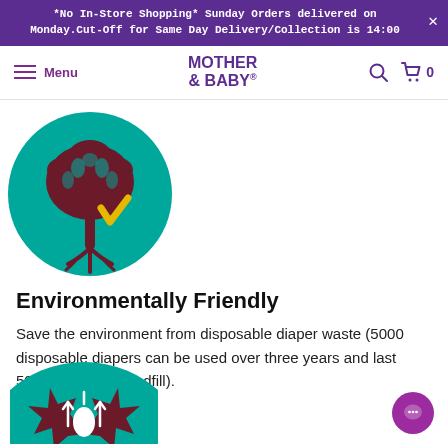*No In-Store Shopping* Sunday Orders delivered on Monday.Cut-Off for Same Day Delivery/Collection is 14:00
Menu | MOTHER & BABY®
[Figure (illustration): Teal circle with a dark maroon illustrated tree with roots and leaves, and a gold/yellow checkmark in the lower right of the circle]
Environmentally Friendly
Save the environment from disposable diaper waste (5000 disposable diapers can be used over three years and last 500+ years in a landfill).
[Figure (illustration): Partial teal circle (cropped at bottom) with dark maroon star/flower shape and white water droplet with upward arrows]